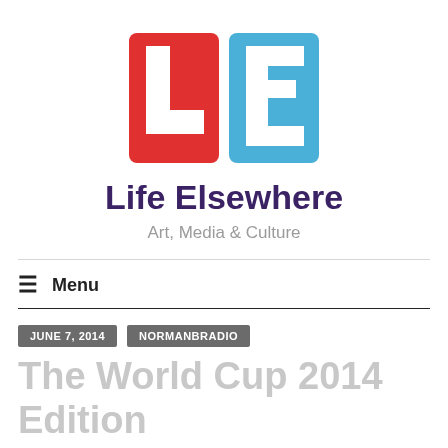[Figure (logo): Life Elsewhere logo: two squares side by side, left square red with white L, right square blue with white E]
Life Elsewhere
Art, Media & Culture
≡  Menu
JUNE 7, 2014   NORMANBRADIO
The World Cup 2014 Edition